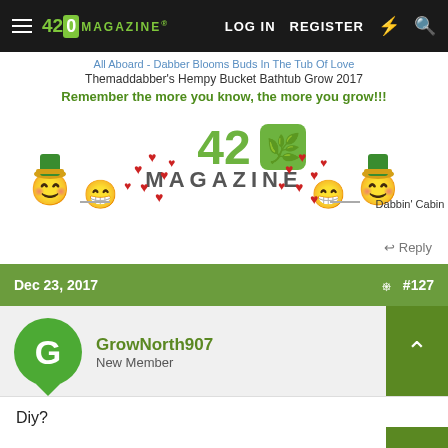420 MAGAZINE | LOG IN | REGISTER
All Aboard - Dabber Blooms Buds In The Tub Of Love
Themaddabber's Hempy Bucket Bathtub Grow 2017
Remember the more you know, the more you grow!!!
[Figure (illustration): 420 Magazine logo with decorative smiley face emojis wearing rastafarian hats and red heart symbols around them. Text 'Dabbin' Cabin' on the right.]
Reply
Dec 23, 2017    #127
GrowNorth907
New Member
Diy?